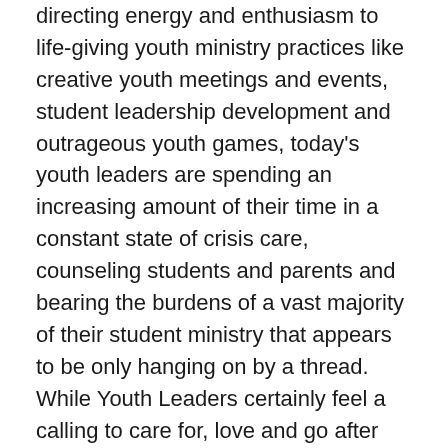directing energy and enthusiasm to life-giving youth ministry practices like creative youth meetings and events, student leadership development and outrageous youth games, today's youth leaders are spending an increasing amount of their time in a constant state of crisis care, counseling students and parents and bearing the burdens of a vast majority of their student ministry that appears to be only hanging on by a thread. While Youth Leaders certainly feel a calling to care for, love and go after the one sheep that has been lost, it now feels as though the 99 are in critical danger and in need of care as well.
There is no debate, serving as a care giver is more taxing, draining and demanding than ever. To maintain long-term care and stability for students, we must be sure that we are caring for the caregivers. Before we look at how to care for caregivers, the question for us on that topic of care...